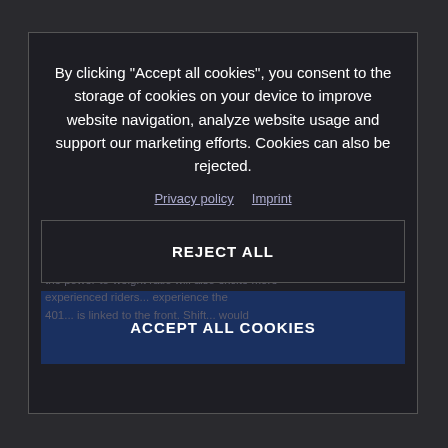The Vitpilon 401 is powered by a modern 373cc single-cylinder engine that is remarkably compact,
By clicking “Accept all cookies”, you consent to the storage of cookies on your device to improve website navigation, analyze website usage and support our marketing efforts. Cookies can also be rejected.
Privacy policy  Imprint
refined power. With a maximum power of 32 kW (43 hp), the VITRILEM 401 is accessible for wide range of use... the power-to-weight ratio will also excite more experienced riders... experience the 401... linked to the front. Shift... would...
REJECT ALL
ACCEPT ALL COOKIES